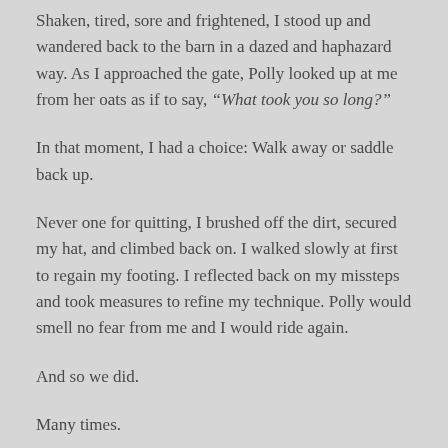Shaken, tired, sore and frightened, I stood up and wandered back to the barn in a dazed and haphazard way. As I approached the gate, Polly looked up at me from her oats as if to say, “What took you so long?”
In that moment, I had a choice: Walk away or saddle back up.
Never one for quitting, I brushed off the dirt, secured my hat, and climbed back on. I walked slowly at first to regain my footing. I reflected back on my missteps and took measures to refine my technique. Polly would smell no fear from me and I would ride again.
And so we did.
Many times.